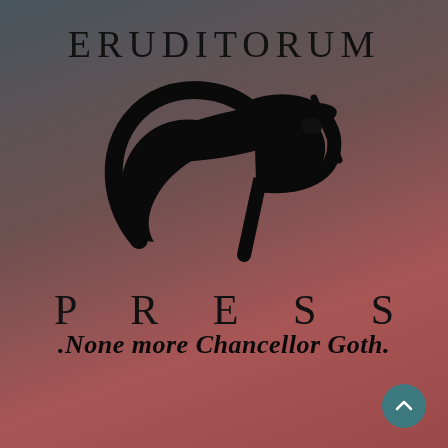[Figure (logo): Eruditorum Press logo with stylized EP calligraphic emblem, text ERUDITORUM above and PRESS below, on a muted teal-to-red gradient background with classical painting visible beneath.]
None more Chancellor Goth.